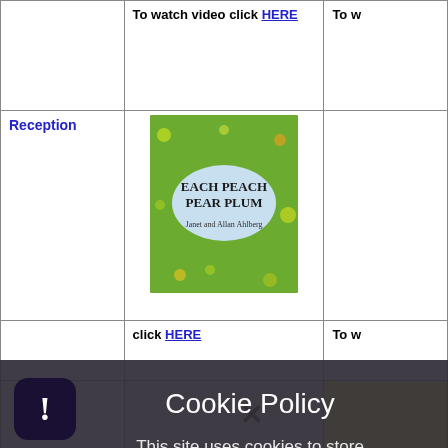|  | To watch video click HERE | To w |
| --- | --- | --- |
|  |  | To w |
| Reception | [Each Peach Pear Plum book cover image] |  |
|  | click HERE | To w |
|  |  |  |
[Figure (screenshot): Cookie Policy overlay dialog on a dark semi-transparent rounded background. Shows title 'Cookie Policy', body text 'This site uses cookies to store information on your computer. Click here for more information', and two buttons: 'Allow Cookies' and 'Deny Cookies'.]